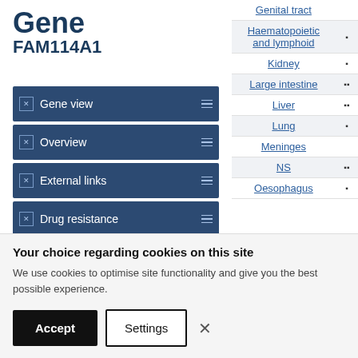Gene FAM114A1
Gene view
Overview
External links
Drug resistance
Tissue distribution
Genome browser
Mutation distribution
| Tissue |  |
| --- | --- |
| Genital tract |  |
| Haematopoietic and lymphoid | ▪ |
| Kidney | ▪ |
| Large intestine | ▪▪ |
| Liver | ▪▪ |
| Lung | ▪ |
| Meninges |  |
| NS | ▪▪ |
| Oesophagus | ▪ |
Your choice regarding cookies on this site
We use cookies to optimise site functionality and give you the best possible experience.